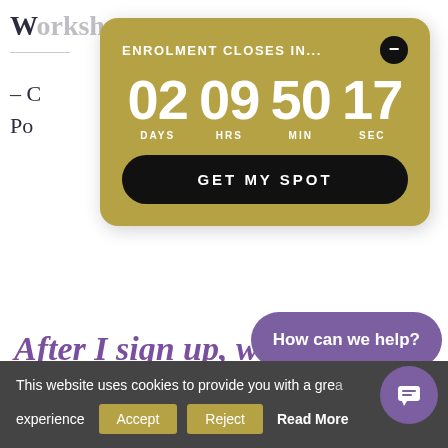W...
- C...
Po...
[Figure (screenshot): Gold countdown timer widget showing ENROLMENT CLOSES IN... with 02 DAYS 09 HRS 50 MIN 17 SEC and a GET MY SPOT button on a gold/tan rounded rectangle with a black close button]
After I sign up, w
How can we help?
This website uses cookies to provide you with a gre... experience
Accept
Reject
Read More